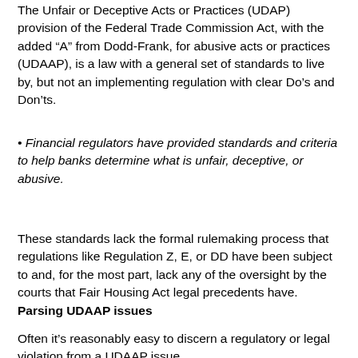The Unfair or Deceptive Acts or Practices (UDAP) provision of the Federal Trade Commission Act, with the added “A” from Dodd-Frank, for abusive acts or practices (UDAAP), is a law with a general set of standards to live by, but not an implementing regulation with clear Do’s and Don’ts.
Financial regulators have provided standards and criteria to help banks determine what is unfair, deceptive, or abusive.
These standards lack the formal rulemaking process that regulations like Regulation Z, E, or DD have been subject to and, for the most part, lack any of the oversight by the courts that Fair Housing Act legal precedents have.
Parsing UDAAP issues
Often it’s reasonably easy to discern a regulatory or legal violation from a UDAAP issue.